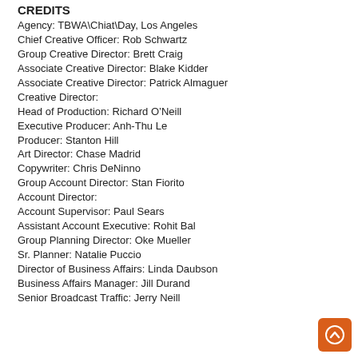CREDITS
Agency: TBWA\Chiat\Day, Los Angeles
Chief Creative Officer: Rob Schwartz
Group Creative Director: Brett Craig
Associate Creative Director: Blake Kidder
Associate Creative Director: Patrick Almaguer
Creative Director:
Head of Production: Richard O’Neill
Executive Producer: Anh-Thu Le
Producer: Stanton Hill
Art Director: Chase Madrid
Copywriter: Chris DeNinno
Group Account Director: Stan Fiorito
Account Director:
Account Supervisor: Paul Sears
Assistant Account Executive: Rohit Bal
Group Planning Director: Oke Mueller
Sr. Planner: Natalie Puccio
Director of Business Affairs: Linda Daubson
Business Affairs Manager: Jill Durand
Senior Broadcast Traffic: Jerry Neill